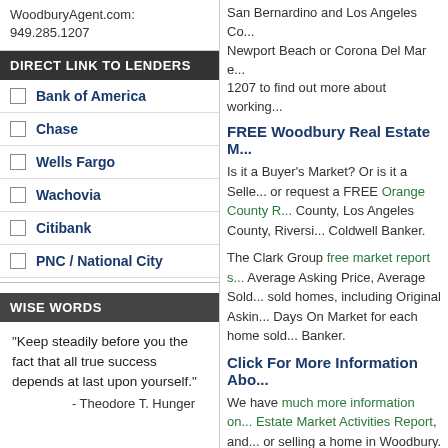WoodburyAgent.com:
949.285.1207
DIRECT LINK TO LENDERS
Bank of America
Chase
Wells Fargo
Wachovia
Citibank
PNC / National City
WISE WORDS
"Keep steadily before you the fact that all true success depends at last upon yourself."
- Theodore T. Hunger
San Bernardino and Los Angeles Co... Newport Beach or Corona Del Mar e... 1207 to find out more about working...
FREE Woodbury Real Estate M...
Is it a Buyer's Market? Or is it a Selle... or request a FREE Orange County R... County, Los Angeles County, Riversi... Coldwell Banker.
The Clark Group free market report s... Average Asking Price, Average Sold... sold homes, including Original Askin... Days On Market for each home sold... Banker.
Click For More Information Abo...
We have much more information on... Estate Market Activities Report, and... or selling a home in Woodbury.
Woodbury Area Pictures & Web...
Woodbury Community Association: In...
Jeffrey Open Space Trail (JOST). Incl...